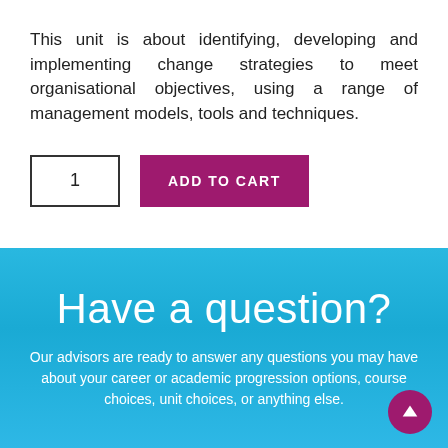This unit is about identifying, developing and implementing change strategies to meet organisational objectives, using a range of management models, tools and techniques.
[Figure (other): Quantity input box showing '1' and a magenta 'ADD TO CART' button]
Have a question?
Our advisors are ready to answer any questions you may have about your career or academic progression options, course choices, unit choices, or anything else.